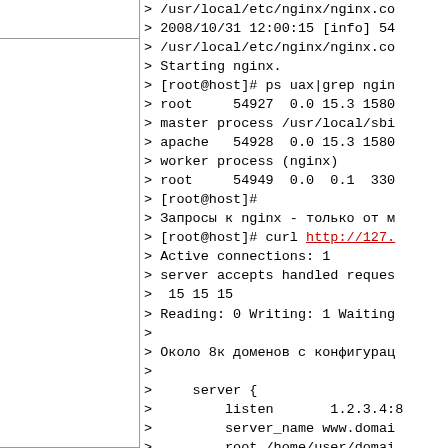[Figure (screenshot): Terminal/code block showing nginx startup logs, ps output, Russian text comments, nginx status output, and nginx server block configuration. Left column is blank/border area. Right column contains monospaced text with command output and config snippets.]